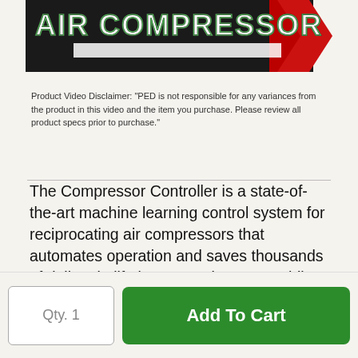[Figure (screenshot): A banner image with dark background and arrow shape reading 'AIR COMPRESSOR' in white outlined green text, with red accent on the right side]
Product Video Disclaimer: "PED is not responsible for any variances from the product in this video and the item you purchase. Please review all product specs prior to purchase."
The Compressor Controller is a state-of-the-art machine learning control system for reciprocating air compressors that automates operation and saves thousands of dollars in lifetime operating costs while delivering better air quality. With a flexible form factor, it is easily adaptable to almost any reciprocating air compressor. It combines Real-Time environmental and operational sensing into a model that drives the control of the compressor